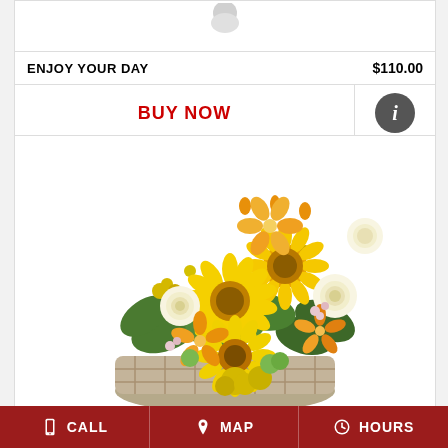ENJOY YOUR DAY    $110.00
BUY NOW
[Figure (photo): Yellow and white flower arrangement in a basket with gerberas, roses, alstroemeria, chrysanthemums and greenery]
CALL   MAP   HOURS